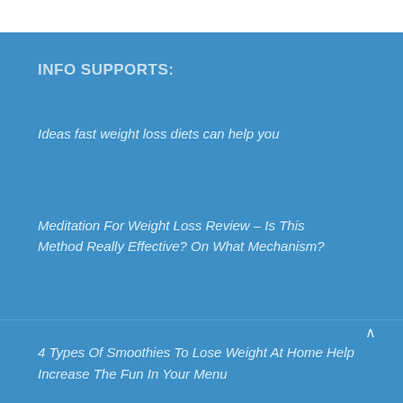INFO SUPPORTS:
Ideas fast weight loss diets can help you
Meditation For Weight Loss Review – Is This Method Really Effective? On What Mechanism?
4 Types Of Smoothies To Lose Weight At Home Help Increase The Fun In Your Menu